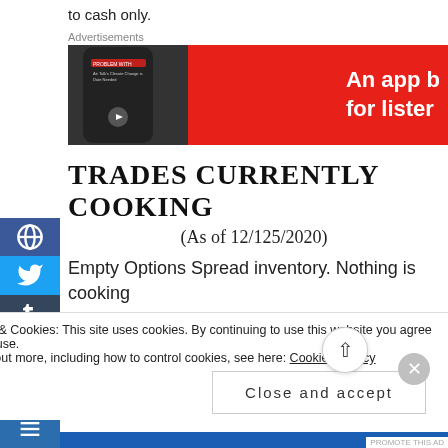to cash only.
Advertisements
[Figure (photo): Advertisement banner for a podcast app showing a smartphone with a podcast episode playing, red background, text 'An app b... for lister...']
TRADES CURRENTLY COOKING
(As of 12/125/2020)
Empty Options Spread inventory. Nothing is cooking
Privacy & Cookies: This site uses cookies. By continuing to use this website you agree to their use. To find out more, including how to control cookies, see here: Cookie Policy
Close and accept